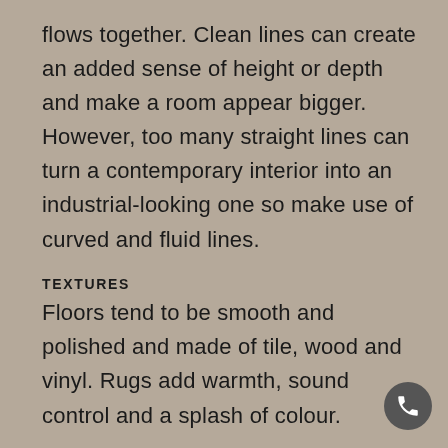flows together. Clean lines can create an added sense of height or depth and make a room appear bigger. However, too many straight lines can turn a contemporary interior into an industrial-looking one so make use of curved and fluid lines.
TEXTURES
Floors tend to be smooth and polished and made of tile, wood and vinyl. Rugs add warmth, sound control and a splash of colour.